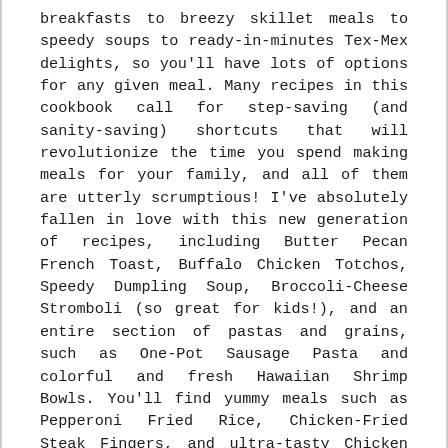breakfasts to breezy skillet meals to speedy soups to ready-in-minutes Tex-Mex delights, so you'll have lots of options for any given meal. Many recipes in this cookbook call for step-saving (and sanity-saving) shortcuts that will revolutionize the time you spend making meals for your family, and all of them are utterly scrumptious! I've absolutely fallen in love with this new generation of recipes, including Butter Pecan French Toast, Buffalo Chicken Totchos, Speedy Dumpling Soup, Broccoli-Cheese Stromboli (so great for kids!), and an entire section of pastas and grains, such as One-Pot Sausage Pasta and colorful and fresh Hawaiian Shrimp Bowls. You'll find yummy meals such as Pepperoni Fried Rice, Chicken-Fried Steak Fingers, and ultra-tasty Chicken Curry in a Hurry . . . as well as assemble-in-the-baking-dish casseroles, throw-together sheet pan suppers,